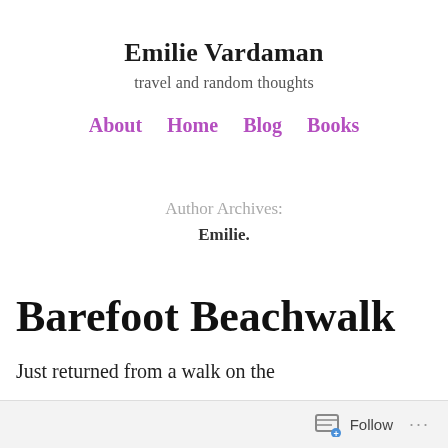Emilie Vardaman
travel and random thoughts
About   Home   Blog   Books
Author Archives: Emilie.
Barefoot Beachwalk
Just returned from a walk on the
Follow